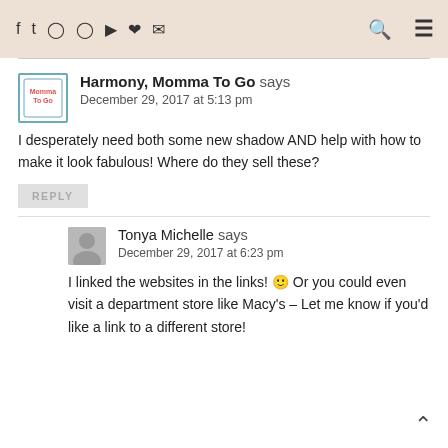Social media icons, search, and menu navigation bar
Harmony, Momma To Go says
December 29, 2017 at 5:13 pm

I desperately need both some new shadow AND help with how to make it look fabulous! Where do they sell these?
REPLY
Tonya Michelle says
December 29, 2017 at 6:23 pm

I linked the websites in the links! 🙂 Or you could even visit a department store like Macy's – Let me know if you'd like a link to a different store!